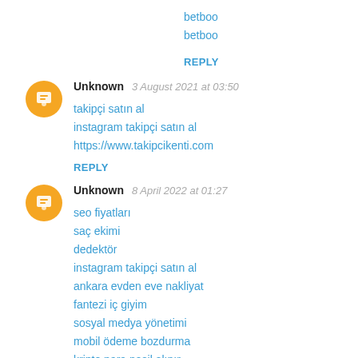betboo
betboo
REPLY
Unknown  3 August 2021 at 03:50
takipçi satın al
instagram takipçi satın al
https://www.takipcikenti.com
REPLY
Unknown  8 April 2022 at 01:27
seo fiyatları
saç ekimi
dedektör
instagram takipçi satın al
ankara evden eve nakliyat
fantezi iç giyim
sosyal medya yönetimi
mobil ödeme bozdurma
kripto para nasil alınır
REPLY